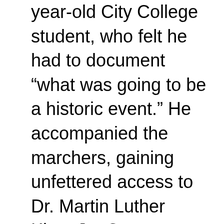year-old City College student, who felt he had to document “what was going to be a historic event.” He accompanied the marchers, gaining unfettered access to Dr. Martin Luther King, Jr., Coretta Scott King, Rosa Parks, James Baldwin, Joan Baez, and Bayard Rustin.